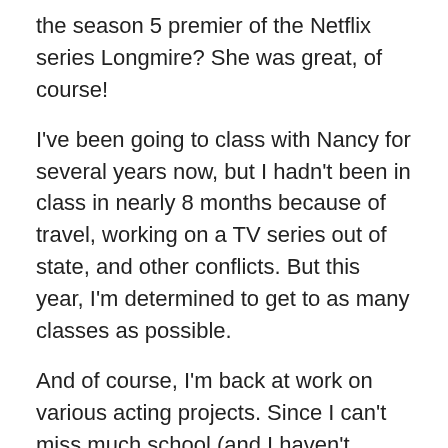the season 5 premier of the Netflix series Longmire? She was great, of course!
I've been going to class with Nancy for several years now, but I hadn't been in class in nearly 8 months because of travel, working on a TV series out of state, and other conflicts. But this year, I'm determined to get to as many classes as possible.
And of course, I'm back at work on various acting projects. Since I can't miss much school (and I haven't missed a single class due to auditions or work so far this year — just in case anybody at my school is reading this!), I can't work nearly as much as I did last year. But that's ok.
So far, high school is pretty cool. For one thing, I don't have to be at school until 9 a.m. Besides all the usual stuff